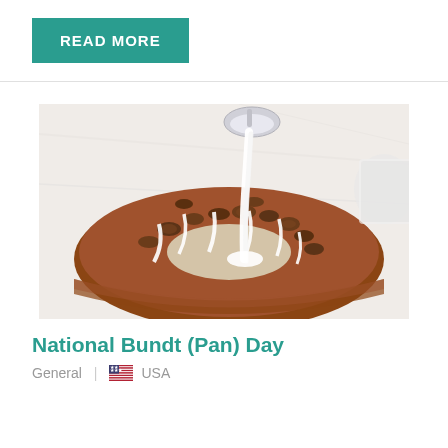READ MORE
[Figure (photo): A bundt cake with nuts and white icing glaze being poured from a spoon, on a marble surface]
National Bundt (Pan) Day
General | USA